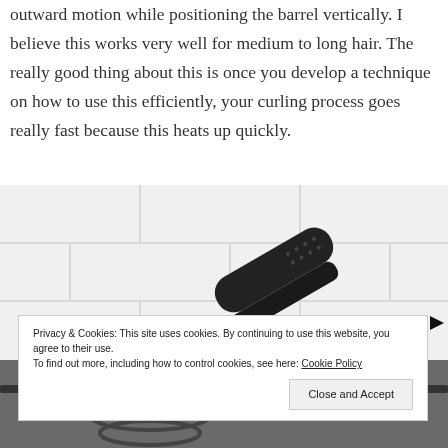outward motion while positioning the barrel vertically. I believe this works very well for medium to long hair. The really good thing about this is once you develop a technique on how to use this efficiently, your curling process goes really fast because this heats up quickly.
[Figure (photo): A curling iron placed on a white subway tile background, with a dark cord visible at the bottom.]
Privacy & Cookies: This site uses cookies. By continuing to use this website, you agree to their use. To find out more, including how to control cookies, see here: Cookie Policy